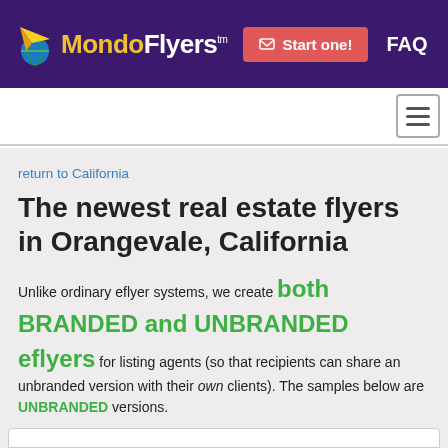MondoFlyers™  Start one!  FAQ
return to California
The newest real estate flyers in Orangevale, California
Unlike ordinary eflyer systems, we create both BRANDED and UNBRANDED eflyers for listing agents (so that recipients can share an unbranded version with their own clients). The samples below are UNBRANDED versions.